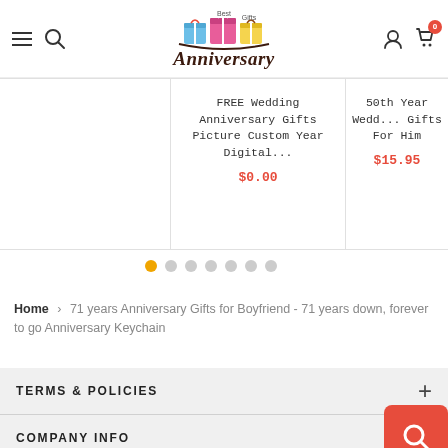[Figure (logo): Best Anniversary Gifts logo with colorful gift boxes and anniversary text in cursive]
FREE Wedding Anniversary Gifts Picture Custom Year Digital...
$0.00
50th Year Wedding Gifts For Him
$15.95
Home › 71 years Anniversary Gifts for Boyfriend - 71 years down, forever to go Anniversary Keychain
TERMS & POLICIES
COMPANY INFO
CONTACT US
cs@bestanniversarygifts.com